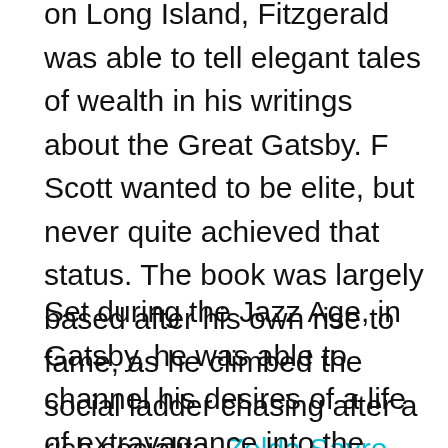on Long Island, Fitzgerald was able to tell elegant tales of wealth in his writings about the Great Gatsby. F Scott wanted to be elite, but never quite achieved that status. The book was largely based after his own rise to fame, as he climbed the social ladder chasing after a rich socialite, Zelda Sayre.
Set during the Jazz Age, in Gatsby, he was able to channel his desires of a life of extravagance into the novel that is the